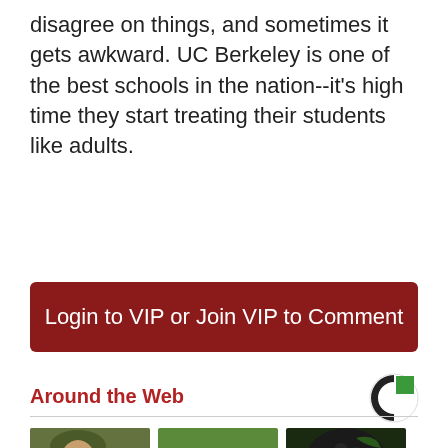disagree on things, and sometimes it gets awkward. UC Berkeley is one of the best schools in the nation--it's high time they start treating their students like adults.
Login to VIP or Join VIP to Comment
Around the Web
[Figure (logo): Circular logo with green and black segments]
[Figure (photo): Three thumbnail images: soldier drinking, blue berries in hand, black fruit closeup]
Camp Lejeune
Add This
One Bite Of